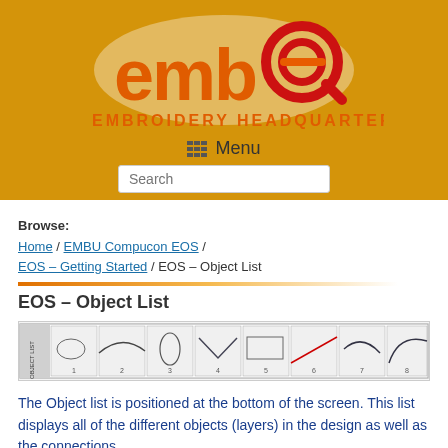[Figure (logo): embEQ Embroidery Headquarters logo on orange background with menu and search bar]
Browse:
Home / EMBU Compucon EOS / EOS – Getting Started / EOS – Object List
EOS – Object List
[Figure (screenshot): Object list panel showing 8 numbered embroidery object thumbnails at the bottom of screen]
The Object list is positioned at the bottom of the screen. This list displays all of the different objects (layers) in the design as well as the connections